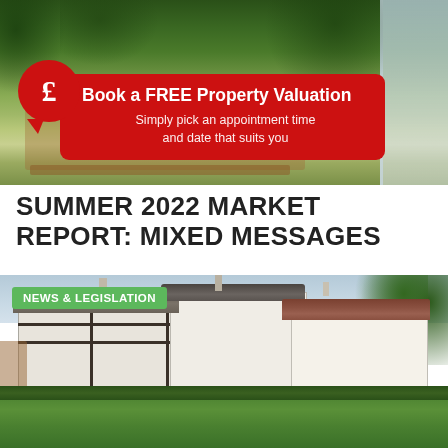[Figure (photo): Garden photo with wooden outdoor furniture and lush green plants, overlaid with a red speech bubble containing £ symbol and a red rounded banner advertising a free property valuation]
SUMMER 2022 MARKET REPORT: MIXED MESSAGES
[Figure (photo): Exterior photo of a traditional English thatched-roof cottage with black and white timber framing, set in a green lawn. Green tag reads NEWS & LEGISLATION.]